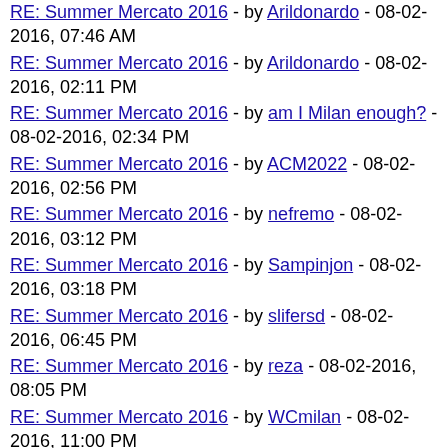RE: Summer Mercato 2016 - by Arildonardo - 08-02-2016, 07:46 AM (partial top)
RE: Summer Mercato 2016 - by Arildonardo - 08-02-2016, 02:11 PM
RE: Summer Mercato 2016 - by am I Milan enough? - 08-02-2016, 02:34 PM
RE: Summer Mercato 2016 - by ACM2022 - 08-02-2016, 02:56 PM
RE: Summer Mercato 2016 - by nefremo - 08-02-2016, 03:12 PM
RE: Summer Mercato 2016 - by Sampinjon - 08-02-2016, 03:18 PM
RE: Summer Mercato 2016 - by slifersd - 08-02-2016, 06:45 PM
RE: Summer Mercato 2016 - by reza - 08-02-2016, 08:05 PM
RE: Summer Mercato 2016 - by WCmilan - 08-02-2016, 11:00 PM
RE: Summer Mercato 2016 - by reza - 08-02-2016, 11:22 PM
RE: Summer Mercato 2016 - by WCmilan - 08-02-2016, 11:54 PM
RE: Summer Mercato 2016 - by reza - 08-03-2016, 12:07 AM
RE: Summer Mercato 2016 - by WCmilan - 08-03-2016, 02:00 AM (indented)
RE: Summer Mercato 2016 - by porcho - 08-03-2016, 12:51 AM
RE: Summer Mercato 2016 - by am I Milan enough? - 08-03- (partial bottom)